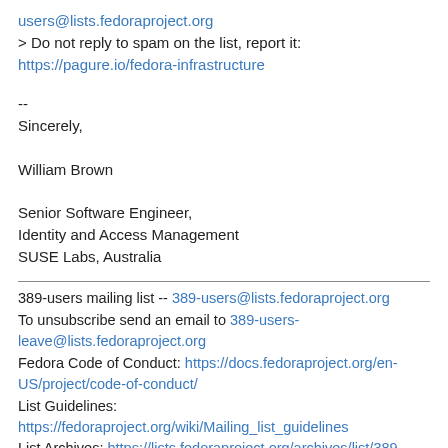users@lists.fedoraproject.org
> Do not reply to spam on the list, report it:
https://pagure.io/fedora-infrastructure
--
Sincerely,

William Brown

Senior Software Engineer,
Identity and Access Management
SUSE Labs, Australia
389-users mailing list -- 389-users@lists.fedoraproject.org
To unsubscribe send an email to 389-users-leave@lists.fedoraproject.org
Fedora Code of Conduct: https://docs.fedoraproject.org/en-US/project/code-of-conduct/
List Guidelines:
https://fedoraproject.org/wiki/Mailing_list_guidelines
List Archives: https://lists.fedoraproject.org/archives/list/389-